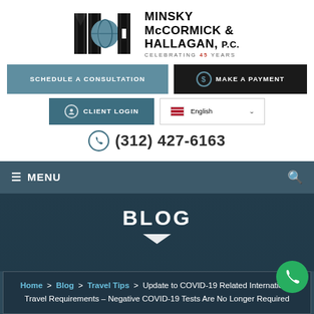[Figure (logo): Minsky McCormick & Hallagan, P.C. law firm logo with MMH letters and globe graphic, celebrating 45 years]
SCHEDULE A CONSULTATION
MAKE A PAYMENT
CLIENT LOGIN
English
(312) 427-6163
MENU
BLOG
Home > Blog > Travel Tips > Update to COVID-19 Related International Travel Requirements – Negative COVID-19 Tests Are No Longer Required